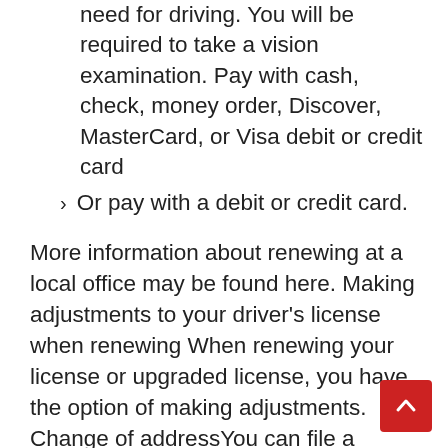need for driving. You will be required to take a vision examination. Pay with cash, check, money order, Discover, MasterCard, or Visa debit or credit card
Or pay with a debit or credit card.
More information about renewing at a local office may be found here. Making adjustments to your driver's license when renewing When renewing your license or upgraded license, you have the option of making adjustments. Change of addressYou can file a change of address online using online services, by mail, or in person at a branch office when renewing your license at the time of renewal. Changes in the given name and date of birth Any branch office will